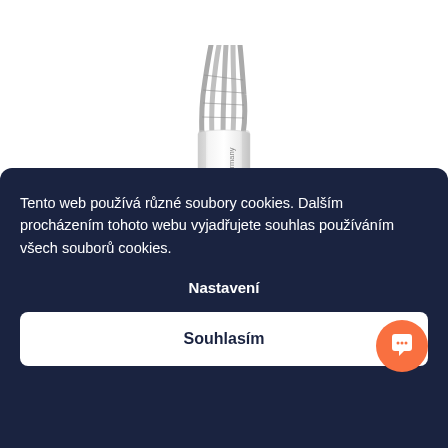[Figure (photo): Photo of Sommer Cable 600-0960LLX — a white-jacketed audio cable with braided shielding visible at the top end, labeled 'Germany']
Sommer Cable 600-0960LLX
Tento web používá různé soubory cookies. Dalším procházením tohoto webu vyjadřujete souhlas používáním všech souborů cookies.
Nastavení
Souhlasím